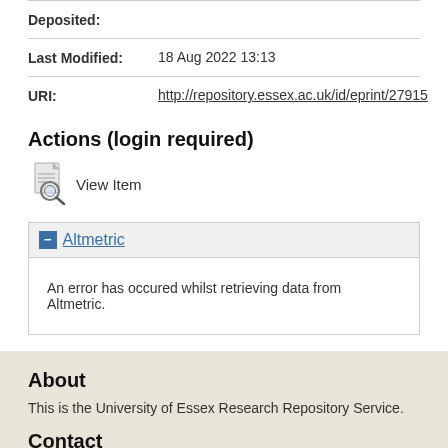| Field | Value |
| --- | --- |
| Deposited: |  |
| Last Modified: | 18 Aug 2022 13:13 |
| URI: | http://repository.essex.ac.uk/id/eprint/27915 |
Actions (login required)
[Figure (illustration): View Item icon — document with magnifying glass]
View Item
Altmetric
An error has occured whilst retrieving data from Altmetric.
About
This is the University of Essex Research Repository Service.
Contact
Any correspondence concerning this specific repository should be sent